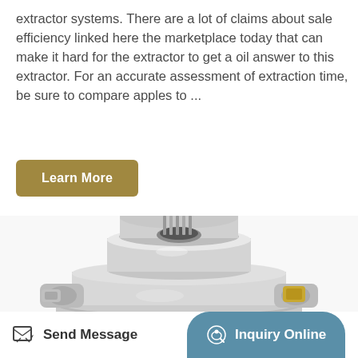extractor systems. There are a lot of claims about sale efficiency linked here the marketplace today that can make it hard for the extractor to get a oil answer to this extractor. For an accurate assessment of extraction time, be sure to compare apples to ...
Learn More
[Figure (photo): Close-up photo of a metal mechanical component — a wheel hub or bearing assembly — with silver/chrome metallic finish, bolts, and one gold/brass colored nut visible.]
Send Message
Inquiry Online